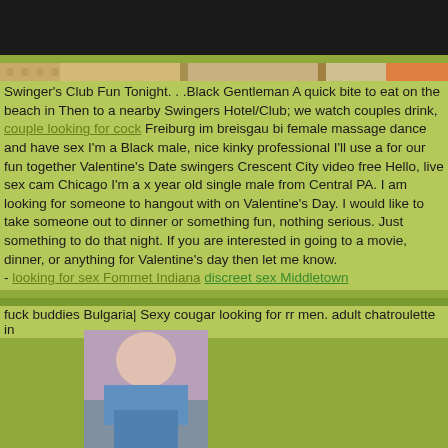[Figure (screenshot): Dark top navigation bar]
[Figure (photo): Horizontal image strip with decorative pattern and photos]
Swinger's Club Fun Tonight. . .Black Gentleman A quick bite to eat on the beach in Then to a nearby Swingers Hotel/Club; we watch couples drink, couple looking for cock Freiburg im breisgau bi female massage dance and have sex I'm a Black male, nice kinky professional I'll use a for our fun together Valentine's Date swingers Crescent City video free Hello, live sex cam Chicago I'm a x year old single male from Central PA. I am looking for someone to hangout with on Valentine's Day. I would like to take someone out to dinner or something fun, nothing serious. Just something to do that night. If you are interested in going to a movie, dinner, or anything for Valentine's day then let me know.
- looking for sex Fommet Indiana discreet sex Middletown
fuck buddies Bulgaria| Sexy cougar looking for rr men. adult chatroulette in
[Figure (photo): Two photos of a woman in blue bikini]